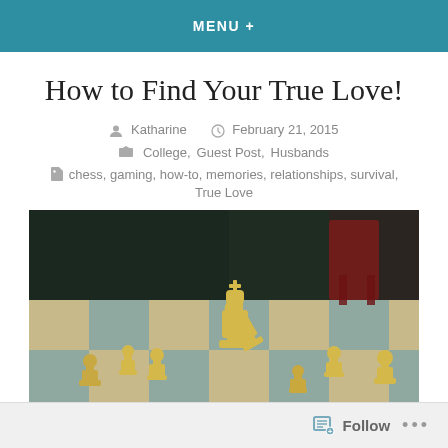MENU +
How to Find Your True Love!
Katharine   February 21, 2015
College, Guest Post, Husbands
chess, gaming, how-to, memories, relationships, survival, True Love
[Figure (photo): Yellow chess pieces on a wooden chessboard, including a king piece leaning against another piece, with a blurred red chair in the background.]
Follow  ...